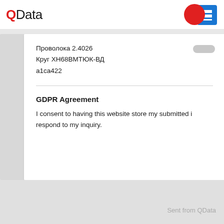QData
Проволока 2.4026
Круг ХН68ВМТЮК-ВД
а1са422
GDPR Agreement
I consent to having this website store my submitted i... respond to my inquiry.
Sent from QData